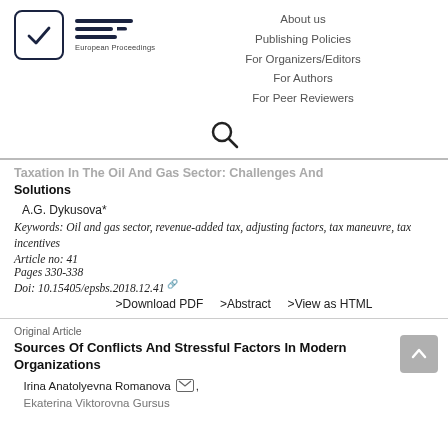[Figure (logo): European Proceedings logo: checkmark in rounded square box with EP horizontal lines and 'European Proceedings' text]
About us
Publishing Policies
For Organizers/Editors
For Authors
For Peer Reviewers
[Figure (other): Search icon (magnifying glass)]
Taxation In The Oil And Gas Sector: Challenges And Solutions
A.G. Dykusova*
Keywords: Oil and gas sector, revenue-added tax, adjusting factors, tax maneuvre, tax incentives
Article no: 41
Pages 330-338
Doi: 10.15405/epsbs.2018.12.41
>Download PDF   >Abstract   >View as HTML
Original Article
Sources Of Conflicts And Stressful Factors In Modern Organizations
Irina Anatolyevna Romanova,
Ekaterina Viktorovna Gursus